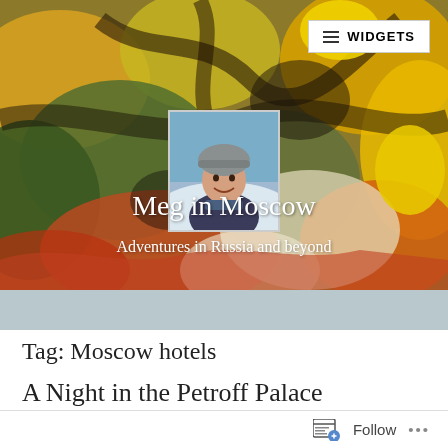[Figure (photo): Blog header banner with colorful expressionist painting background (yellows, greens, oranges), a circular profile photo of a woman in a winter hat in the center, the blog title 'Meg in Moscow' and subtitle 'Adventures in Russia and beyond' overlaid in white text. A 'WIDGETS' button with hamburger icon appears in the top right corner.]
Meg in Moscow
Adventures in Russia and beyond
Tag: Moscow hotels
A Night in the Petroff Palace
The majority of my posts on this blog seem to share unique and
Follow ...